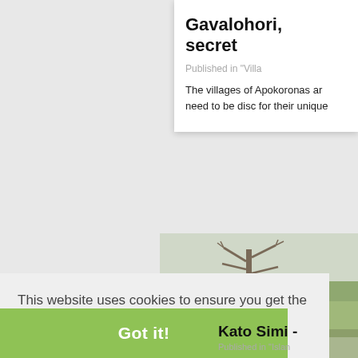Gavalohori, secret
Published in "Villa
The villages of Apokoronas ar need to be disc for their unique
This website uses cookies to ensure you get the best experience on our website.
Learn more
[Figure (photo): Scenic rural landscape with a bare tree and green fields]
Got it!
Kato Simi -
Published in "Islan